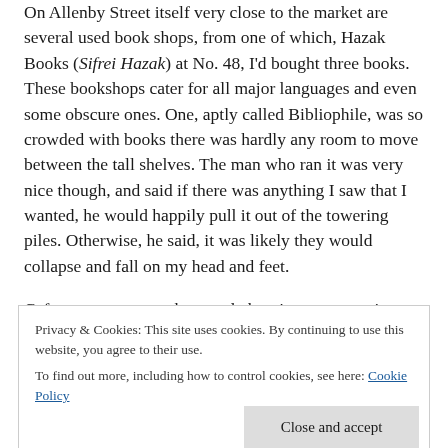On Allenby Street itself very close to the market are several used book shops, from one of which, Hazak Books (Sifrei Hazak) at No. 48, I'd bought three books. These bookshops cater for all major languages and even some obscure ones. One, aptly called Bibliophile, was so crowded with books there was hardly any room to move between the tall shelves. The man who ran it was very nice though, and said if there was anything I saw that I wanted, he would happily pull it out of the towering piles. Otherwise, he said, it was likely they would collapse and fall on my head and feet.
Cafes, restaurants, pubs, trendy boutiques, souvenirs, home furnishings, antiques – all manner of shops line Allenby
Privacy & Cookies: This site uses cookies. By continuing to use this website, you agree to their use.
To find out more, including how to control cookies, see here: Cookie Policy
Close and accept
Obviously this was not a kosher place, as besides pork chops